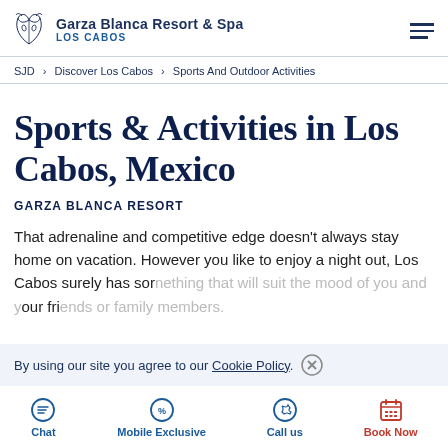Garza Blanca Resort & Spa LOS CABOS
SJD > Discover Los Cabos > Sports And Outdoor Activities
Sports & Activities in Los Cabos, Mexico
GARZA BLANCA RESORT
That adrenaline and competitive edge doesn't always stay home on vacation. However you like to enjoy a night out, Los Cabos surely has something that will suit the mood of you and your friends or family members.
By using our site you agree to our Cookie Policy.
Chat | Mobile Exclusive | Call us | Book Now